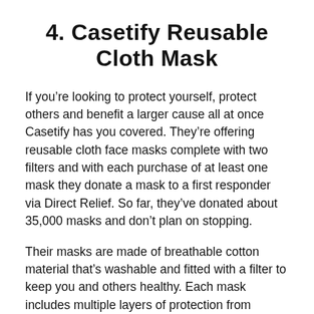4. Casetify Reusable Cloth Mask
If you’re looking to protect yourself, protect others and benefit a larger cause all at once Casetify has you covered. They’re offering reusable cloth face masks complete with two filters and with each purchase of at least one mask they donate a mask to a first responder via Direct Relief. So far, they’ve donated about 35,000 masks and don’t plan on stopping.
Their masks are made of breathable cotton material that’s washable and fitted with a filter to keep you and others healthy. Each mask includes multiple layers of protection from pollen, dust, car exhaust and other gunk in the air you’d probably rather not breathe in. Use the filter for an increased effect and dispose of it afterwards. The masks include elastic ear straps for a